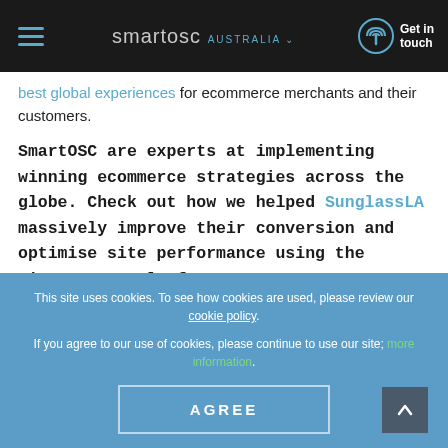smartosc AUSTRALIA ∨  Get in touch
best global experiences for ecommerce merchants and their customers.
SmartOSC are experts at implementing winning ecommerce strategies across the globe. Check out how we helped SunglassLA massively improve their conversion and optimise site performance using the BigCommerce platform.
This site uses cookies. To see how cookies are used, please review our cookie policy.
If you agree to our use of cookies, please continue to use our site; more information.